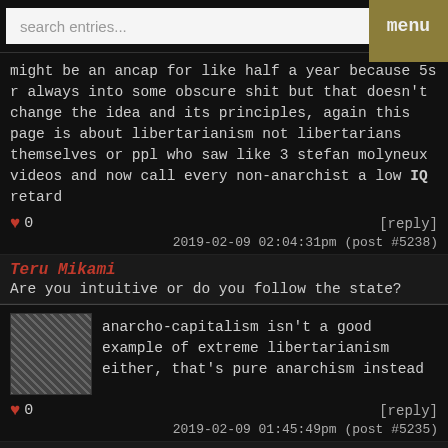search entries...  menu
might be an ancap for like half a year because 5s r always into some obscure shit but that doesn't change the idea and its principles, again this page is about libertarianism not libertarians themselves or ppl who saw like 3 stefan molyneux videos and now call every non-anarchist a low IQ retard
♥ 0   [reply]  2019-02-09 02:04:31pm (post #5238)
Teru Mikami
Are you intuitive or do you follow the state?
[Figure (photo): Gray textured avatar image]
anarcho-capitalism isn't a good example of extreme libertarianism either, that's pure anarchism instead
♥ 0   [reply]  2019-02-09 01:45:49pm (post #5235)
Teru Mikami
Are you intuitive or do you follow the state?